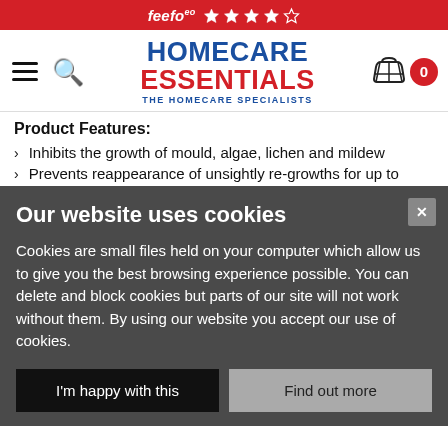feefo ★★★★☆
[Figure (logo): Homecare Essentials logo with navigation icons: hamburger menu, search, shopping basket with 0 badge]
Product Features:
Inhibits the growth of mould, algae, lichen and mildew
Prevents reappearance of unsightly re-growths for up to
Our website uses cookies
Cookies are small files held on your computer which allow us to give you the best browsing experience possible. You can delete and block cookies but parts of our site will not work without them. By using our website you accept our use of cookies.
I'm happy with this | Find out more